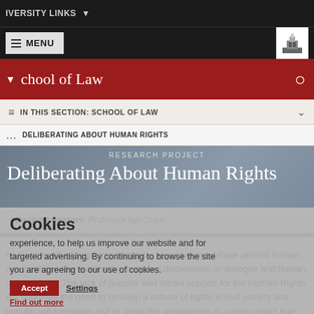IVERSITY LINKS
MENU
chool of Law
IN THIS SECTION: SCHOOL OF LAW
DELIBERATING ABOUT HUMAN RIGHTS
RESEARCH PROJECT
Deliberating About Human Rights
We use cookies to ensure you have the best browsing experience, to help us improve our website and for targeted advertising. By continuing to browse the site you are agreeing to our use of cookies.
Co-investigators: Professor Ian Cram
he Centre will address one particular aspect of the debate around human rights reform: the relationship between deliberation or dialogue and human rights reform. The lack of popular and media support for the Human Rights Act suggests the need to develop a culture of rights in civil society and popular will-formation and to avoid the appearance of a elite project that excludes the general public from